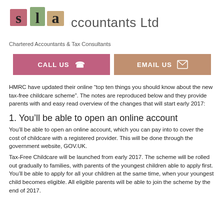[Figure (logo): SLA Accountants Ltd logo with stylized letter blocks in pink, green, and tan colors, followed by 'ccountants Ltd' text]
Chartered Accountants & Tax Consultants
[Figure (infographic): Two buttons: CALL US with telephone icon (pink/mauve background) and EMAIL US with envelope icon (tan/salmon background)]
HMRC have updated their online “top ten things you should know about the new tax-free childcare scheme”. The notes are reproduced below and they provide parents with and easy read overview of the changes that will start early 2017:
1. You’ll be able to open an online account
You’ll be able to open an online account, which you can pay into to cover the cost of childcare with a registered provider. This will be done through the government website, GOV.UK.
Tax-Free Childcare will be launched from early 2017. The scheme will be rolled out gradually to families, with parents of the youngest children able to apply first. You’ll be able to apply for all your children at the same time, when your youngest child becomes eligible. All eligible parents will be able to join the scheme by the end of 2017.